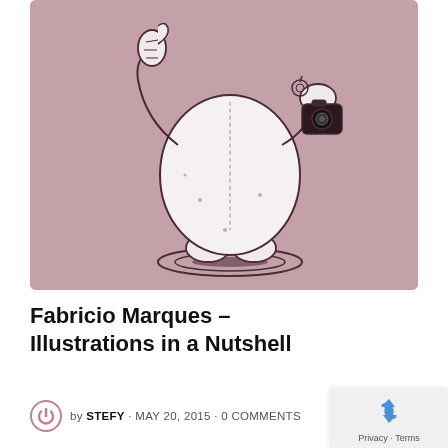[Figure (illustration): A cartoon illustration of a round, chubby robot/character seen from the back, holding a camera up in one hand and giving a thumbs-up gesture with the other, standing on a dark shadow puddle, against a mauve/dusty rose background.]
Fabricio Marques – Illustrations in a Nutshell
by STEFY · MAY 20, 2015 · 0 COMMENTS